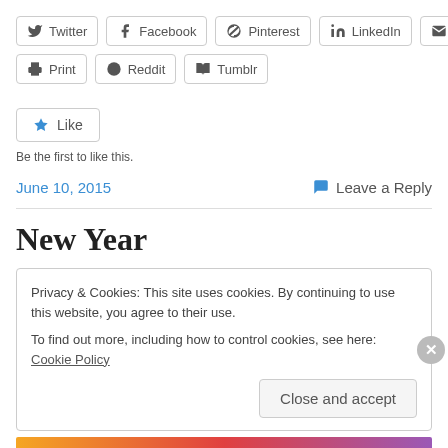[Figure (other): Social share buttons row 1: Twitter, Facebook, Pinterest, LinkedIn, Email]
[Figure (other): Social share buttons row 2: Print, Reddit, Tumblr]
[Figure (other): Like button with star icon]
Be the first to like this.
June 10, 2015
Leave a Reply
New Year
Privacy & Cookies: This site uses cookies. By continuing to use this website, you agree to their use.
To find out more, including how to control cookies, see here: Cookie Policy
Close and accept